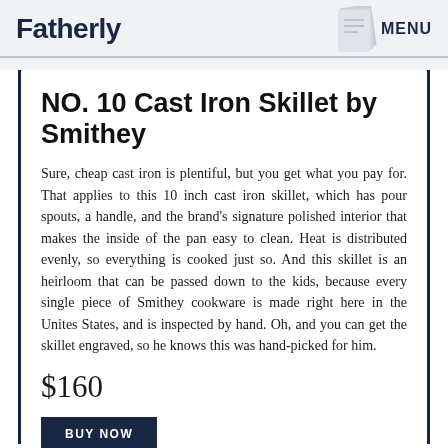Fatherly  MENU
NO. 10 Cast Iron Skillet by Smithey
Sure, cheap cast iron is plentiful, but you get what you pay for. That applies to this 10 inch cast iron skillet, which has pour spouts, a handle, and the brand's signature polished interior that makes the inside of the pan easy to clean. Heat is distributed evenly, so everything is cooked just so. And this skillet is an heirloom that can be passed down to the kids, because every single piece of Smithey cookware is made right here in the Unites States, and is inspected by hand. Oh, and you can get the skillet engraved, so he knows this was hand-picked for him.
$160